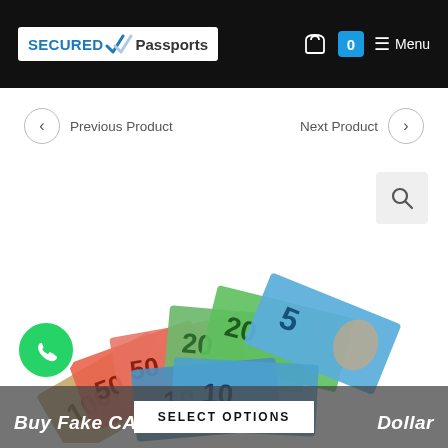Secured Passports — Menu navigation header with cart icon showing 0 items
Previous Product
Next Product
[Figure (photo): Fan of Canadian dollar banknotes including $100, $50, $20, $10, and $5 polymer bills spread on white background]
Buy Fake CAD Canadian Dollar
SELECT OPTIONS